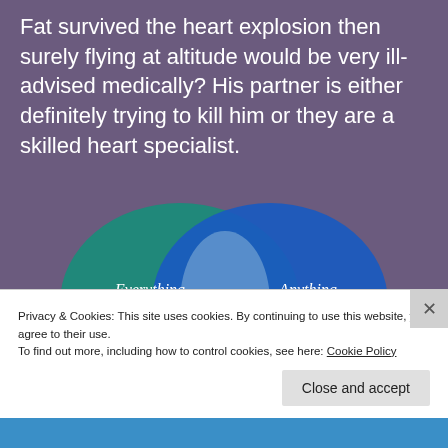Fat survived the heart explosion then surely flying at altitude would be very ill-advised medically? His partner is either definitely trying to kill him or they are a skilled heart specialist.
[Figure (infographic): Venn diagram showing two overlapping circles. Left circle (teal) labeled 'Everything you need', right circle (blue) labeled 'Anything you want', with a lighter oval overlap in the center.]
Privacy & Cookies: This site uses cookies. By continuing to use this website, you agree to their use.
To find out more, including how to control cookies, see here: Cookie Policy